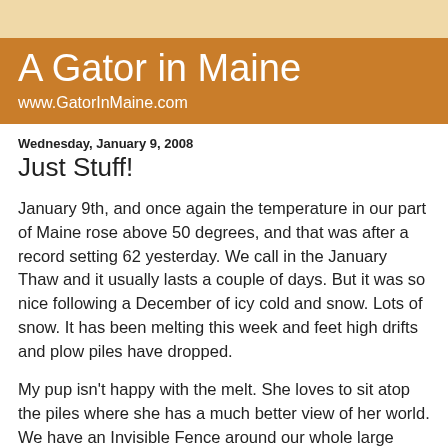A Gator in Maine
www.GatorInMaine.com
Wednesday, January 9, 2008
Just Stuff!
January 9th, and once again the temperature in our part of Maine rose above 50 degrees, and that was after a record setting 62 yesterday. We call in the January Thaw and it usually lasts a couple of days. But it was so nice following a December of icy cold and snow. Lots of snow. It has been melting this week and feet high drifts and plow piles have dropped.
My pup isn't happy with the melt. She loves to sit atop the piles where she has a much better view of her world. We have an Invisible Fence around our whole large yard so the pup has a wide range of choices for her view. The other day